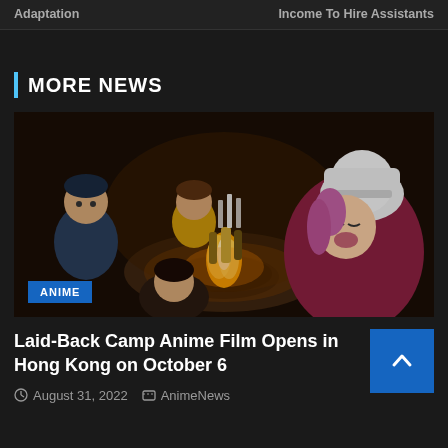Adaptation
Income To Hire Assistants
MORE NEWS
[Figure (photo): Anime characters sitting around a campfire indoors, from Laid-Back Camp anime film. A girl with pink hair and white hat is visible in the foreground, with other characters around a fire pit on a table.]
Laid-Back Camp Anime Film Opens in Hong Kong on October 6
August 31, 2022   AnimeNews